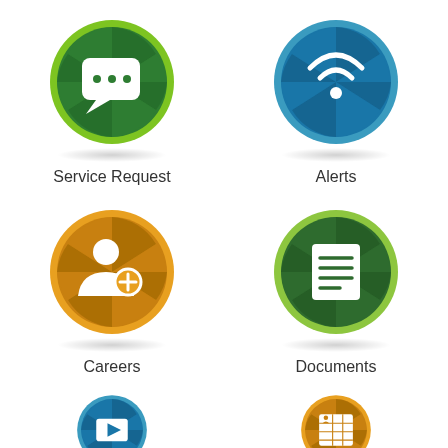[Figure (illustration): Green circular icon with speech bubble (chat) symbol and radiating segments, labeled Service Request]
Service Request
[Figure (illustration): Blue circular icon with WiFi/signal symbol and radiating segments, labeled Alerts]
Alerts
[Figure (illustration): Orange circular icon with person/add contact symbol and radiating segments, labeled Careers]
Careers
[Figure (illustration): Dark green circular icon with document/list symbol and lime green border with radiating segments, labeled Documents]
Documents
[Figure (illustration): Blue circular icon with play/video button symbol, partially visible at bottom, radiating segments]
[Figure (illustration): Orange circular icon with table/grid symbol, partially visible at bottom, radiating segments]